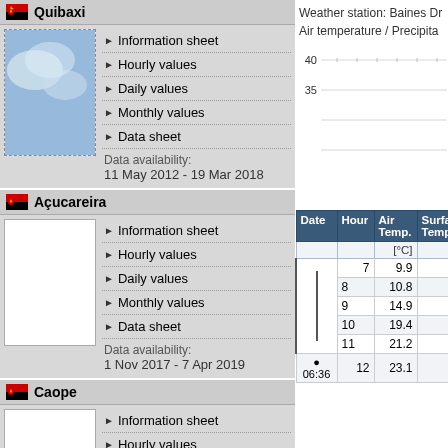Quibaxi
Information sheet
Hourly values
Daily values
Monthly values
Data sheet
Data availability:
11 May 2012 - 19 Mar 2018
Açucareira
Information sheet
Hourly values
Daily values
Monthly values
Data sheet
Data availability:
1 Nov 2017 - 7 Apr 2019
Caope
Information sheet
Hourly values
Daily values
Monthly values
Data sheet
Data availability:
1 Jan 2016 - 16 Apr 2018
Weather station: Baines Dr
Air temperature / Precipita
[Figure (continuous-plot): Partial weather chart showing Air temperature / Precipitation axes with y-axis values 40 and 35 visible]
| Date | Hour | Air Temp. | Surface Temp. |
| --- | --- | --- | --- |
|  |  | [°C] | [ |
|  | 7 | 9.9 | 1 |
|  | 8 | 10.8 | 1 |
|  | 9 | 14.9 | 1 |
|  | 10 | 19.4 | 1 |
|  | 11 | 21.2 | 1 |
| 06:36 | 12 | 23.1 | 1 |